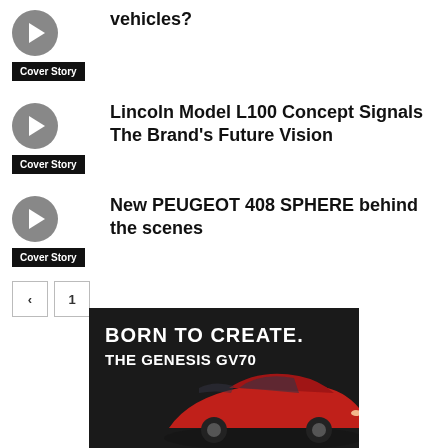vehicles?
Cover Story
Lincoln Model L100 Concept Signals The Brand's Future Vision
Cover Story
New PEUGEOT 408 SPHERE behind the scenes
Cover Story
Pagination: previous, next
[Figure (photo): Genesis GV70 advertisement with text BORN TO CREATE. THE GENESIS GV70, showing a red car on a dark background]